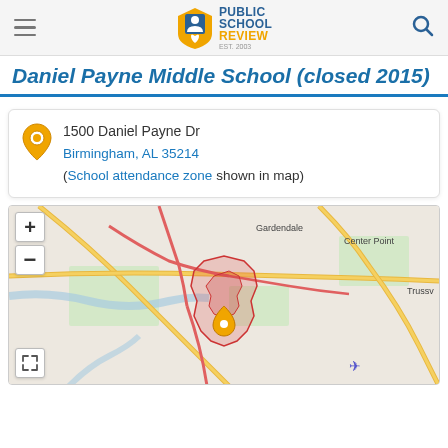Public School Review EST. 2003
Daniel Payne Middle School (closed 2015)
1500 Daniel Payne Dr
Birmingham, AL 35214
(School attendance zone shown in map)
[Figure (map): Street map showing the area around Daniel Payne Middle School in Birmingham, AL, with labels for Gardendale, Center Point, and Trussv(ille). Map includes zoom controls (+/-) and a fullscreen expand button. An orange map pin marks the school location. A pink/red shaded region indicates the school attendance zone. Roads including highways are shown.]